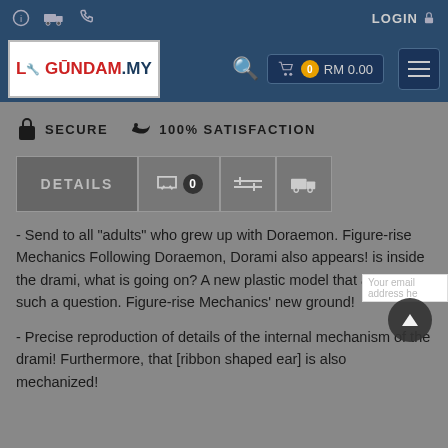LOGIN
[Figure (logo): Gundam.my logo in red and dark blue text on white background]
SECURE   100% SATISFACTION
[Figure (screenshot): Product detail tabs: DETAILS (active), comment count 0, compare, shipping]
- Send to all "adults" who grew up with Doraemon. Figure-rise Mechanics Following Doraemon, Dorami also appears! is inside the drami, what is going on? A new plastic model that answers such a question. Figure-rise Mechanics' new ground!
- Precise reproduction of details of the internal mechanism of the drami! Furthermore, that [ribbon shaped ear] is also mechanized!